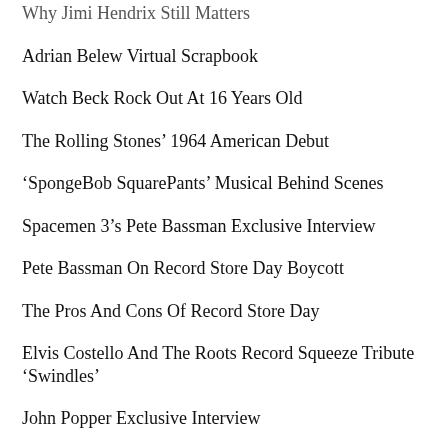Why Jimi Hendrix Still Matters
Adrian Belew Virtual Scrapbook
Watch Beck Rock Out At 16 Years Old
The Rolling Stones’ 1964 American Debut
‘SpongeBob SquarePants’ Musical Behind Scenes
Spacemen 3’s Pete Bassman Exclusive Interview
Pete Bassman On Record Store Day Boycott
The Pros And Cons Of Record Store Day
Elvis Costello And The Roots Record Squeeze Tribute ‘Swindles’
John Popper Exclusive Interview
The Dog That Helped Define Beck ‘Odelay’